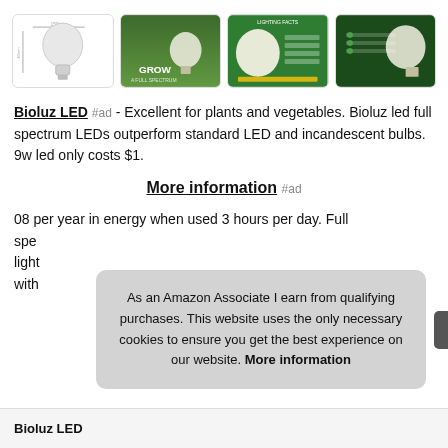[Figure (photo): Four product images of Bioluz LED grow light bulbs in a row with rounded-corner borders]
Bioluz LED #ad - Excellent for plants and vegetables. Bioluz led full spectrum LEDs outperform standard LED and incandescent bulbs. 9w led only costs $1.
More information #ad
08 per year in energy when used 3 hours per day. Full spe light with
As an Amazon Associate I earn from qualifying purchases. This website uses the only necessary cookies to ensure you get the best experience on our website. More information
Bioluz LED